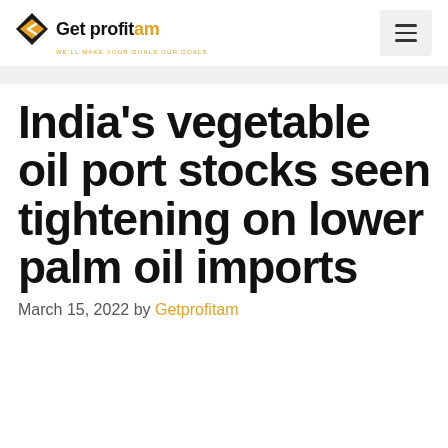Get profitam — WE'LL MAKE YOUR GOALS OUR GOALS
India's vegetable oil port stocks seen tightening on lower palm oil imports
March 15, 2022 by Getprofitam